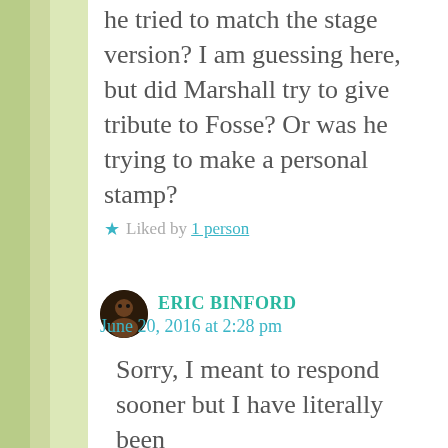he tried to match the stage version? I am guessing here, but did Marshall try to give tribute to Fosse? Or was he trying to make a personal stamp?
★ Liked by 1 person
ERIC BINFORD
June 20, 2016 at 2:28 pm
Sorry, I meant to respond sooner but I have literally been